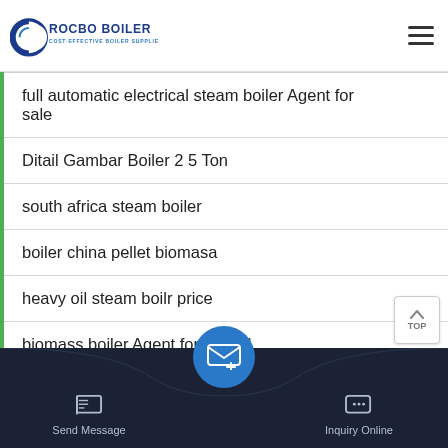ROCBO BOILER - COST-EFFECTIVE BOILER SUPPLIER
full automatic electrical steam boiler Agent for sale
Ditail Gambar Boiler 2 5 Ton
south africa steam boiler
boiler china pellet biomasa
heavy oil steam boilr price
biomass boiler Agent for school
300 kg hr steam boiler specifications horizontal
Send Message | Inquiry Online